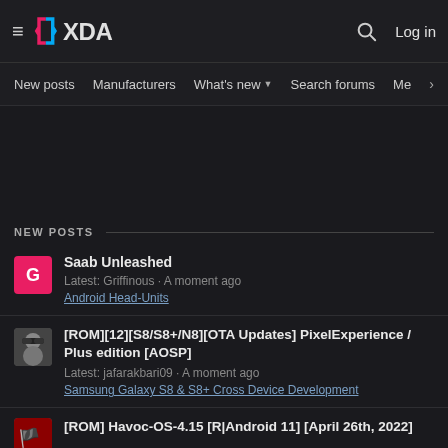XDA Developers — hamburger menu, search, Log in
New posts | Manufacturers | What's new ▾ | Search forums | Membe >
NEW POSTS
Saab Unleashed
Latest: Griffinous · A moment ago
Android Head-Units
[ROM][12][S8/S8+/N8][OTA Updates] PixelExperience / Plus edition [AOSP]
Latest: jafarakbari09 · A moment ago
Samsung Galaxy S8 & S8+ Cross Device Development
[ROM] Havoc-OS-4.15 [R|Android 11] [April 26th, 2022]